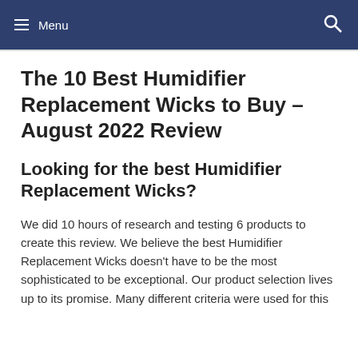Menu
The 10 Best Humidifier Replacement Wicks to Buy – August 2022 Review
Looking for the best Humidifier Replacement Wicks?
We did 10 hours of research and testing 6 products to create this review. We believe the best Humidifier Replacement Wicks doesn't have to be the most sophisticated to be exceptional. Our product selection lives up to its promise. Many different criteria were used for this